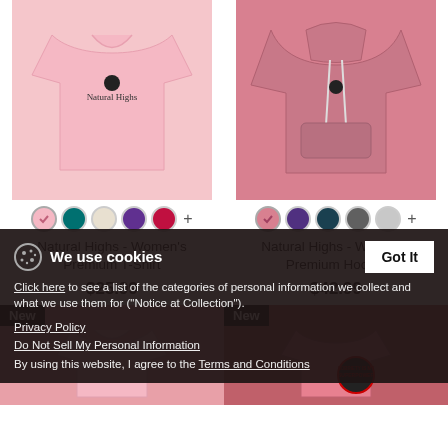[Figure (photo): Pink women's t-shirt with Natural Highs logo]
[Figure (photo): Pink/rose women's premium hoodie with Natural Highs logo]
Natural Highs - Women's Premium T-Shirt
$25.99
Natural Highs - Women's Premium Hoodie
$42.99
[Figure (photo): New badge with partial pink t-shirt product]
[Figure (photo): New badge with partial pink product showing Sobriety Is My Superpower graphic]
We use cookies
Click here to see a list of the categories of personal information we collect and what we use them for ("Notice at Collection").
Privacy Policy
Do Not Sell My Personal Information
By using this website, I agree to the Terms and Conditions